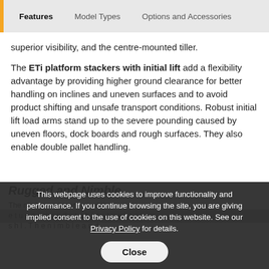Features   Model Types   Options and Accessories
superior visibility, and the centre-mounted tiller.
The ETi platform stackers with initial lift add a flexibility advantage by providing higher ground clearance for better handling on inclines and uneven surfaces and to avoid product shifting and unsafe transport conditions. Robust initial lift load arms stand up to the severe pounding caused by uneven floors, dock boards and rough surfaces. They also enable double pallet handling.
Rugged and Nimble
This webpage uses cookies to improve functionality and performance. If you continue browsing the site, you are giving implied consent to the use of cookies on this website. See our Privacy Policy for details.